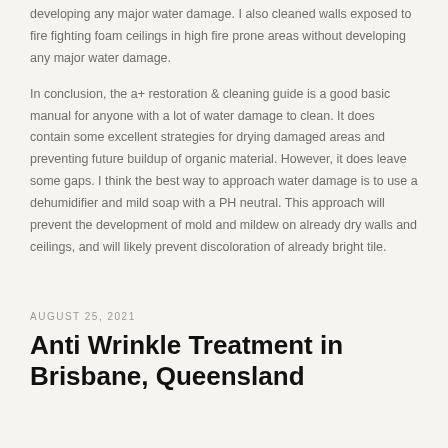developing any major water damage. I also cleaned walls exposed to fire fighting foam ceilings in high fire prone areas without developing any major water damage.
In conclusion, the a+ restoration & cleaning guide is a good basic manual for anyone with a lot of water damage to clean. It does contain some excellent strategies for drying damaged areas and preventing future buildup of organic material. However, it does leave some gaps. I think the best way to approach water damage is to use a dehumidifier and mild soap with a PH neutral. This approach will prevent the development of mold and mildew on already dry walls and ceilings, and will likely prevent discoloration of already bright tile.
AUGUST 25, 2021
Anti Wrinkle Treatment in Brisbane, Queensland